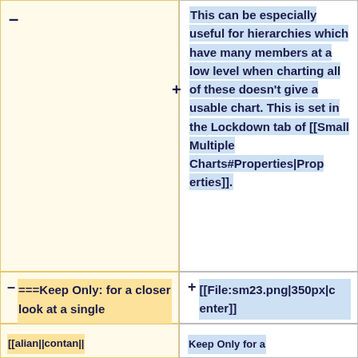This can be especially useful for hierarchies which have many members at a low level when charting all of these doesn't give a usable chart. This is set in the Lockdown tab of [[Small Multiple Charts#Properties|Properties]].
===Keep Only: for a closer look at a single Column===
[[File:sm23.png|350px|center]]
[[alian||contan||
Keep Only for a